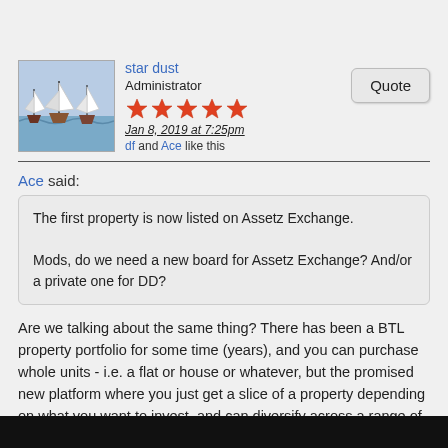star dust
Administrator
Jan 8, 2019 at 7:25pm
df and Ace like this
Ace said:
The first property is now listed on Assetz Exchange.

Mods, do we need a new board for Assetz Exchange? And/or a private one for DD?
Are we talking about the same thing? There has been a BTL property portfolio for some time (years), and you can purchase whole units - i.e. a flat or house or whatever, but the promised new platform where you just get a slice of a property depending on what you want to invest, and can diversify across a range of properties with less than it would take to buy a single unit (for us real non-BH retail investors 🙂) is not yet open - at least not for me. I still get the pre-registration page and when I did just to see what would happen, I got the page as before: